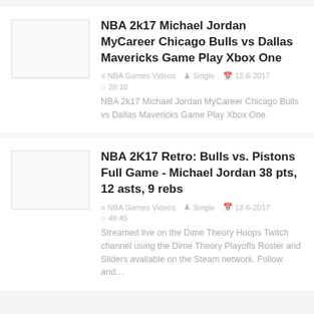NBA 2k17 Michael Jordan MyCareer Chicago Bulls vs Dallas Mavericks Game Play Xbox One
≡ NBA Games Videos  ♟ Single  📅 12-6-2017  ⏱ 28:10
NBA 2k17 Michael Jordan MyCareer Chicago Bulls vs Dallas Mavericks Game Play Xbox One.
NBA 2K17 Retro: Bulls vs. Pistons Full Game - Michael Jordan 38 pts, 12 asts, 9 rebs
≡ NBA Games Videos  ♟ Single  📅 12-6-2017  ⏱ 48:45
Streamed live on the Dime Theory Hoops Twitch channel using the Dime Theory Playoffs Roster and Sliders available on the Steam network. Follow and...